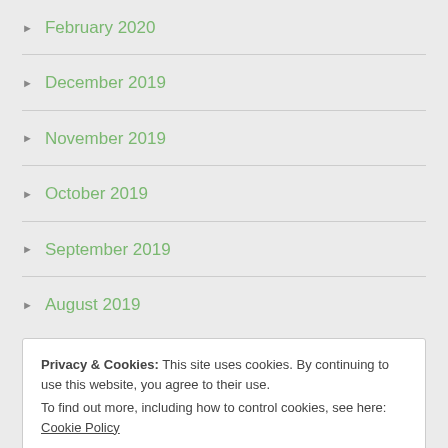February 2020
December 2019
November 2019
October 2019
September 2019
August 2019
Privacy & Cookies: This site uses cookies. By continuing to use this website, you agree to their use. To find out more, including how to control cookies, see here: Cookie Policy Close and accept